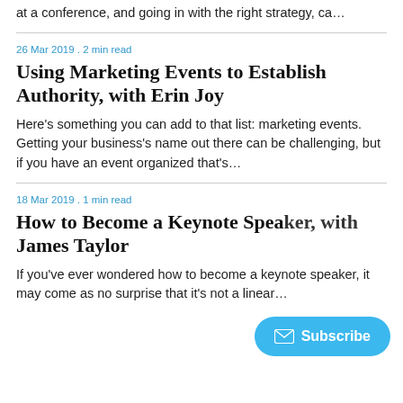at a conference, and going in with the right strategy, ca…
26 Mar 2019 . 2 min read
Using Marketing Events to Establish Authority, with Erin Joy
Here's something you can add to that list: marketing events. Getting your business's name out there can be challenging, but if you have an event organized that's…
18 Mar 2019 . 1 min read
How to Become a Keynote Speaker, with James Taylor
If you've ever wondered how to become a keynote speaker, it may come as no surprise that it's not a linear…